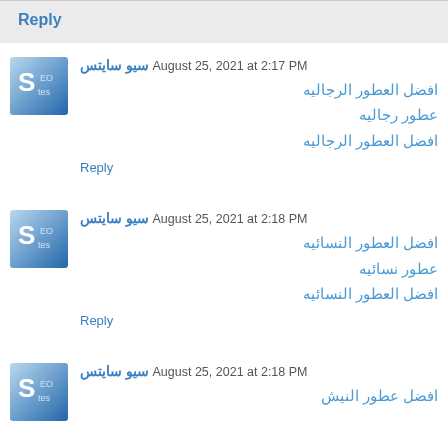Reply
سيو سايتس  August 25, 2021 at 2:17 PM
افضل العطور الرجاليه
عطور رجاليه
افضل العطور الرجاليه
Reply
سيو سايتس  August 25, 2021 at 2:18 PM
افضل العطور النسائيه
عطور نسائيه
افضل العطور النسائيه
Reply
سيو سايتس  August 25, 2021 at 2:18 PM
افضل عطور النيش